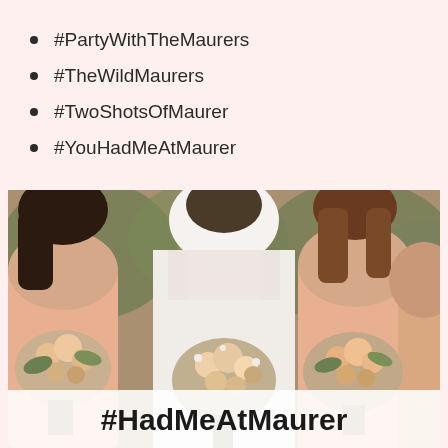#PartyWithTheMaurers
#TheWildMaurers
#TwoShotsOfMaurer
#YouHadMeAtMaurer
[Figure (photo): Wedding photo showing a bride in a white lace dress and veil flanked by bridesmaids in peach/blush dresses, all holding flower bouquets with roses and baby's breath. A white banner at the bottom reads #HadMeAtMaurer in bold black text.]
#HadMeAtMaurer